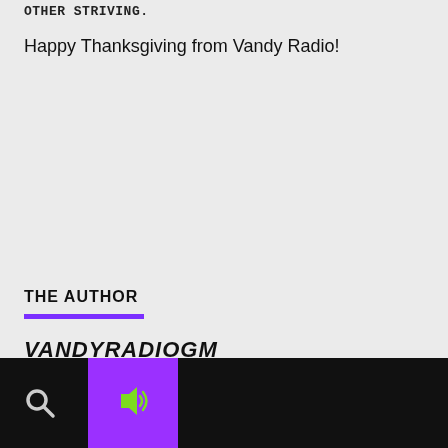OTHER STRIVING
Happy Thanksgiving from Vandy Radio!
THE AUTHOR
VANDYRADIOGM